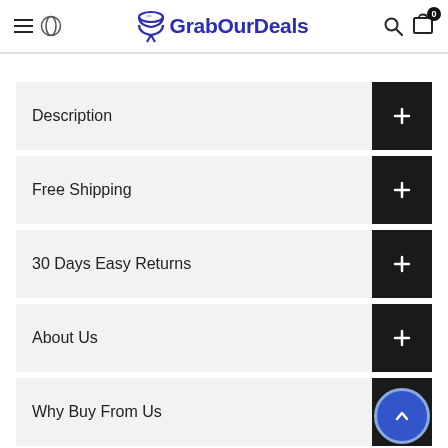GrabOurDeals
Description
Free Shipping
30 Days Easy Returns
About Us
Why Buy From Us